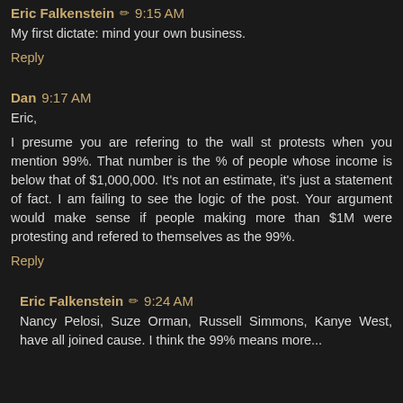Eric Falkenstein ✏ 9:15 AM
My first dictate: mind your own business.
Reply
Dan 9:17 AM
Eric,
I presume you are refering to the wall st protests when you mention 99%. That number is the % of people whose income is below that of $1,000,000. It's not an estimate, it's just a statement of fact. I am failing to see the logic of the post. Your argument would make sense if people making more than $1M were protesting and refered to themselves as the 99%.
Reply
Eric Falkenstein ✏ 9:24 AM
Nancy Pelosi, Suze Orman, Russell Simmons, Kanye West, have all joined cause. I think the 99% means more...